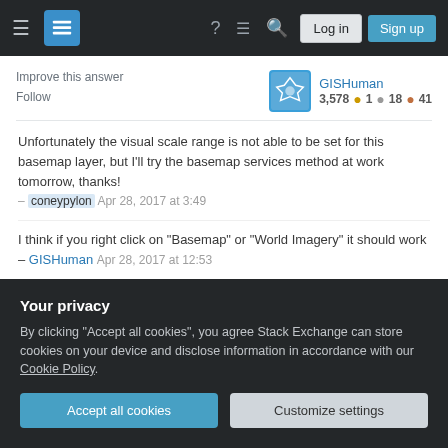Stack Exchange navigation bar with Log in and Sign up buttons
Improve this answer
Follow
GISHuman
3,578 ● 1 ● 18 ● 41
Unfortunately the visual scale range is not able to be set for this basemap layer, but I'll try the basemap services method at work tomorrow, thanks!
– coneypylon  Apr 28, 2017 at 3:49
I think if you right click on "Basemap" or "World Imagery" it should work – GISHuman  Apr 28, 2017 at 12:53
No, I think ESRI may have locked that directly out. The basemap services load much quicker, and I found the
Your privacy
By clicking "Accept all cookies", you agree Stack Exchange can store cookies on your device and disclose information in accordance with our Cookie Policy.
Accept all cookies
Customize settings
– GISHuman  Apr 28, 2017 at 20:37